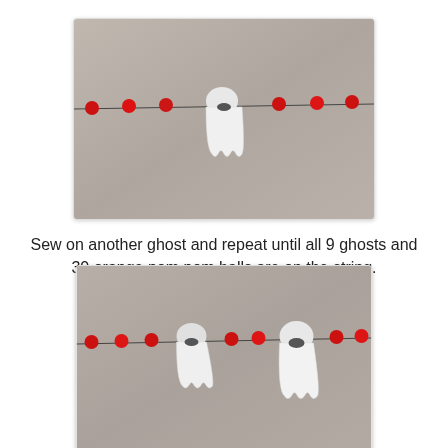[Figure (photo): Photo of a paper ghost ornament hanging on a string garland with red pom pom balls, against a light fabric background.]
Sew on another ghost and repeat until all 9 ghosts and 30 orange pom pom balls are on the string.
[Figure (photo): Photo of two paper ghost ornaments hanging on a string garland with red pom pom balls, against a light fabric background.]